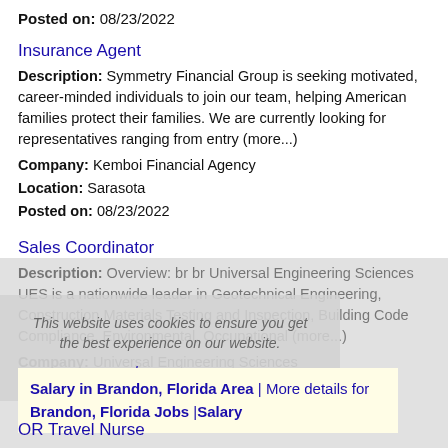Posted on: 08/23/2022
Insurance Agent
Description: Symmetry Financial Group is seeking motivated, career-minded individuals to join our team, helping American families protect their families. We are currently looking for representatives ranging from entry (more...)
Company: Kemboi Financial Agency
Location: Sarasota
Posted on: 08/23/2022
Sales Coordinator
Description: Overview: br br Universal Engineering Sciences UES is a nationwide leader in Geotechnical Engineering, Construction Materials Testing and Inspection, Building Code Compliance, Environmental, Occupational (more...)
Company: Universal Engineering Sciences
Location: Sarasota
Posted on: 08/23/2022
This website uses cookies to ensure you get the best experience on our website. Learn more
Salary in Brandon, Florida Area | More details for Brandon, Florida Jobs |Salary
OR Travel Nurse